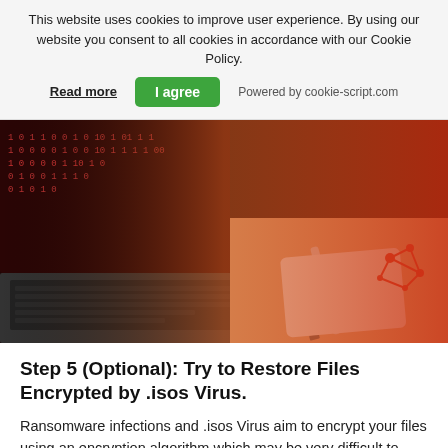This website uses cookies to improve user experience. By using our website you consent to all cookies in accordance with our Cookie Policy.
Read more  |  I agree  |  Powered by cookie-script.com
[Figure (photo): A laptop displaying binary code on its screen, a stylus and tablet, and a red digital network graphic on a dark background with an orange-red gradient overlay.]
Step 5 (Optional): Try to Restore Files Encrypted by .isos Virus.
Ransomware infections and .isos Virus aim to encrypt your files using an encryption algorithm which may be very difficult to decrypt. This is why we have suggested a data recovery method that